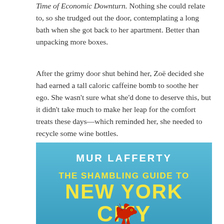Time of Economic Downturn. Nothing she could relate to, so she trudged out the door, contemplating a long bath when she got back to her apartment. Better than unpacking more boxes.
After the grimy door shut behind her, Zoë decided she had earned a tall caloric caffeine bomb to soothe her ego. She wasn't sure what she'd done to deserve this, but it didn't take much to make her leap for the comfort treats these days—which reminded her, she needed to recycle some wine bottles.
[Figure (illustration): Book cover of 'The Shambling Guide to New York City' by Mur Lafferty. Blue gradient background, yellow title text in large bold letters, white author name at top, red dragon creature at bottom center.]